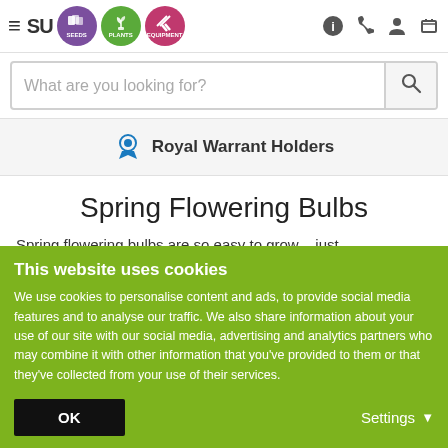[Figure (screenshot): Website header navigation bar with hamburger menu, Suttons logo, Seeds/Plants/Equipment circular icons, info, phone, account, and cart icons]
[Figure (screenshot): Search bar with placeholder text 'What are you looking for?' and a search button]
[Figure (screenshot): Royal Warrant Holders banner with award ribbon icon]
Spring Flowering Bulbs
Spring flowering bulbs are so easy to grow – just
This website uses cookies
We use cookies to personalise content and ads, to provide social media features and to analyse our traffic. We also share information about your use of our site with our social media, advertising and analytics partners who may combine it with other information that you've provided to them or that they've collected from your use of their services.
OK
Settings